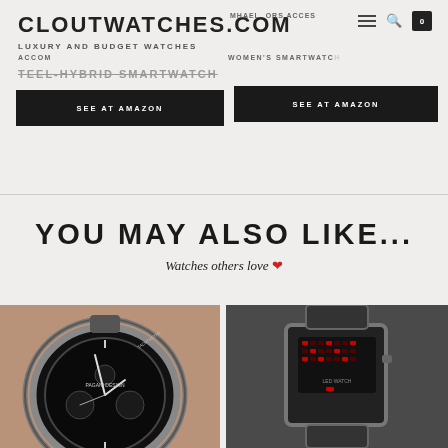CLOUTWATCHES.COM | LUXURY AND BUDGET WATCHES
ACCOM... MHAEL...ORS ACCES... WOMEN'S SMARTWATC...
TEEL-HYBRID SMARTWATCH
SEE AT AMAZON
SEE AT AMAZON
YOU MAY ALSO LIKE...
Watches others love ❤
[Figure (photo): Close-up photo of a chronograph watch with tachymetre bezel, dark dial, Pagani Design brand]
[Figure (photo): Grayscale photo of a digital LED watch with rectangular case on wrist]